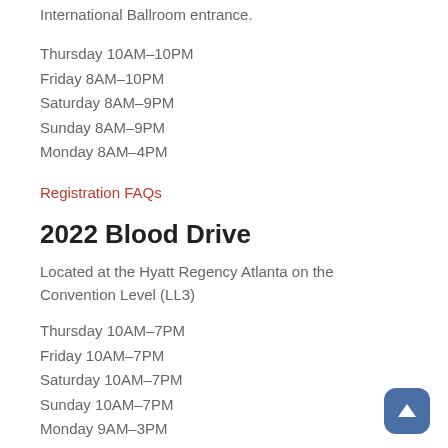International Ballroom entrance.
Thursday 10AM–10PM
Friday 8AM–10PM
Saturday 8AM–9PM
Sunday 8AM–9PM
Monday 8AM–4PM
Registration FAQs
2022 Blood Drive
Located at the Hyatt Regency Atlanta on the Convention Level (LL3)
Thursday 10AM–7PM
Friday 10AM–7PM
Saturday 10AM–7PM
Sunday 10AM–7PM
Monday 9AM–3PM